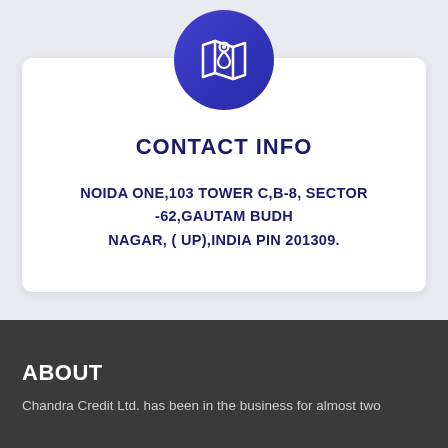[Figure (illustration): A circular blue gradient icon with a map and location pin symbol in white]
CONTACT INFO
NOIDA ONE,103 TOWER C,B-8, SECTOR -62,GAUTAM BUDH NAGAR, ( UP),INDIA PIN 201309.
ABOUT
Chandra Credit Ltd. has been in the business for almost two